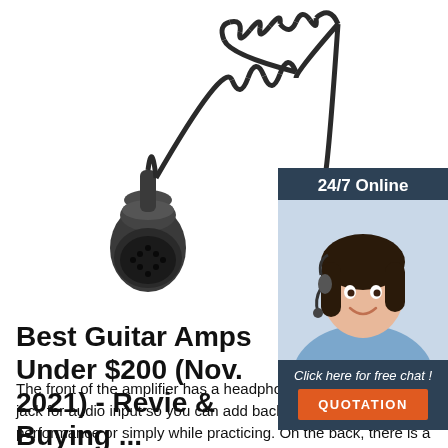[Figure (photo): A coiled black cable with two multi-pin circular connectors at each end, shown against a white background.]
[Figure (photo): A sidebar advertisement showing a woman wearing a headset (customer service agent) with text '24/7 Online', 'Click here for free chat!' and an orange 'QUOTATION' button, set on a dark blue-grey background.]
Best Guitar Amps Under $200 (Nov. 2021) - Revie & Buying ...
The front of the amplifier has a headphone output and a mini-jack for audio input so you can add backing tracks to your performance or simply while practicing. On the back, there is a balanced line-out for plugging the amp in a mixer and an LEC power cable port. The 40-watt power is good